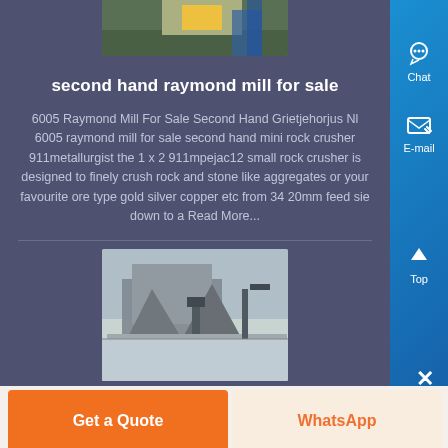[Figure (photo): Partial view of industrial machinery or mining equipment at the top of the page]
second hand raymond mill for sale
6005 Raymond Mill For Sale Second Hand Grietjehorjus Nl 6005 raymond mill for sale second hand mini rock crusher 911metallurgist the 1 x 2 911mpejac12 small rock crusher is designed to finely crush rock and stone like aggregates or your favourite ore type gold silver copper etc from 34 20mm feed sie down to a Read More...
[Figure (photo): Industrial mining or crushing equipment structure with conveyor belts and metal framework]
Get a Quote
WhatsApp